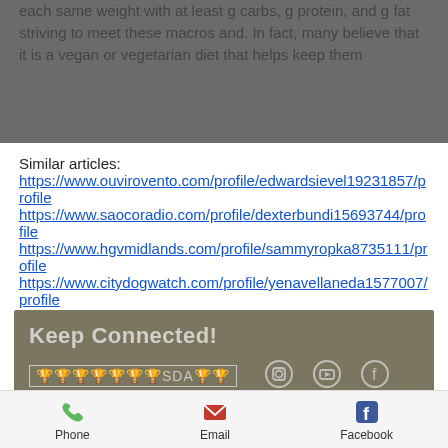each same weight with at least g carbs, g protein, and g fat striving to meet these macros and. In fact, many believe that it is a vegan or vegetarian diet that helps keep them
Similar articles:
https://www.ouvirovento.com/profile/edwardsievel19231857/profile
https://www.saocoradio.com/profile/dexterbundi15693744/profile
https://www.hgvmidlands.com/profile/sammyropka8735111/profile
https://www.citydogwatch.com/profile/yenavellaneda1577007/profile
Keep Connected!
🏆🏆🏆🏆🏆🏆🏆SDA🏆🏆
Phone  Email  Facebook